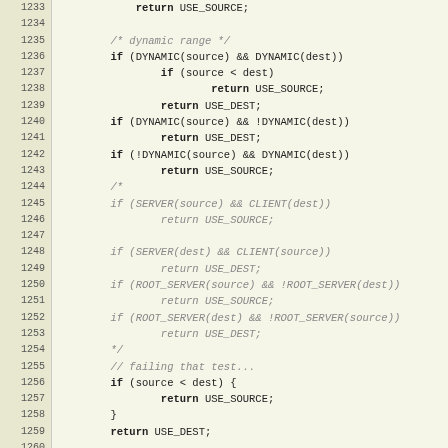Source code listing, lines 1233-1264, showing C code with dynamic range checks and packet truncation comment